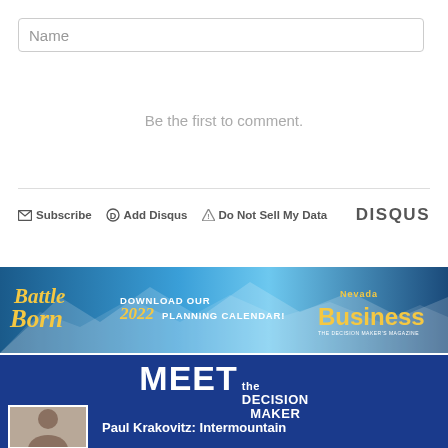Name
Be the first to comment.
Subscribe  Add Disqus  Do Not Sell My Data   DISQUS
[Figure (infographic): Nevada Business magazine banner: Battle Born logo, text 'DOWNLOAD OUR 2022 PLANNING CALENDAR!', Nevada Business logo on right, blue mountain background]
[Figure (infographic): Meet the Decision Maker section on dark blue background, with person photo placeholder and text 'Paul Krakovitz: Intermountain']